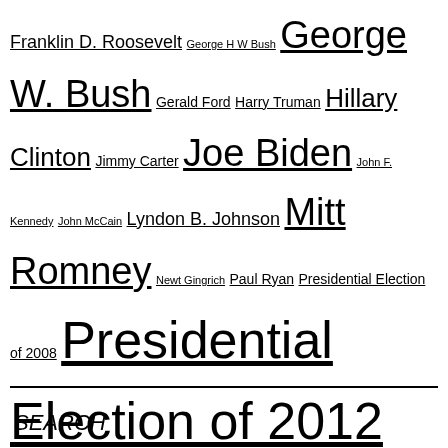Franklin D. Roosevelt George H W Bush George W. Bush Gerald Ford Harry Truman Hillary Clinton Jimmy Carter Joe Biden John F. Kennedy John McCain Lyndon B. Johnson Mitt Romney Newt Gingrich Paul Ryan Presidential Election of 2008 Presidential Election of 2012 Presidential Election Of 2016 Presidential Election Of 2020 Public Opinion Polls Racism Republican Party Richard Nixon Ronald Reagan Sarah Palin Supreme Court Tea Party Movement Texas Theodore Roosevelt US House Of Representatives US Senate Vice Presidency Women Woodrow Wilson
SEARCH